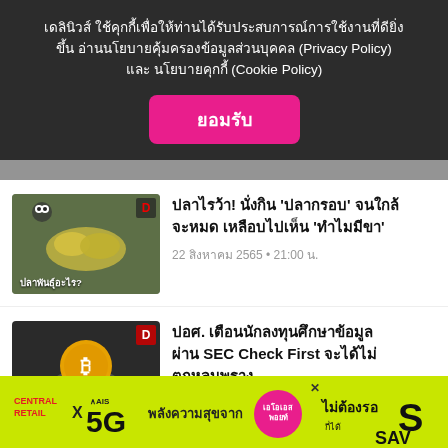เดลินิวส์ ใช้คุกกี้เพื่อให้ท่านได้รับประสบการณ์การใช้งานที่ดียิ่งขึ้น อ่านนโยบายคุ้มครองข้อมูลส่วนบุคคล (Privacy Policy) และ นโยบายคุกกี้ (Cookie Policy)
ยอมรับ
[Figure (screenshot): Thumbnail image of fish being held, with Thai text 'ปลาพันธุ์อะไร?']
ปลาไรว้า! นั่งกิน 'ปลากรอบ' จนใกล้จะหมด เหลือบไปเห็น 'ทำไมมีขา'
22 สิงหาคม 2565 • 21:00 น.
[Figure (screenshot): Thumbnail image of a Bitcoin coin being held, with Thai text 'เช็กให้ดีก่อนลงทุน']
ปอศ. เตือนนักลงทุนศึกษาข้อมูลผ่าน SEC Check First จะได้ไม่ตกหลุมพราง
22 สิงหาคม 2565 • 20:43 น.
[Figure (infographic): Advertisement banner: Central Retail x AIS 5G promotion with Thai text พลังความสุขจาก and SAVE text]